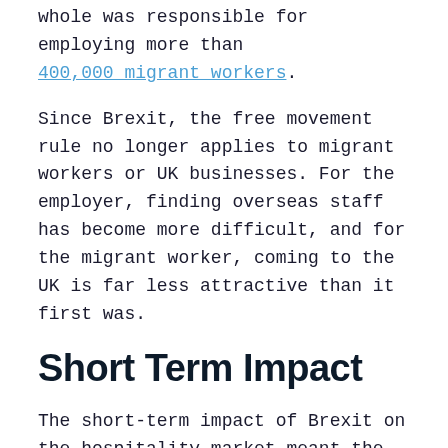whole was responsible for employing more than 400,000 migrant workers.
Since Brexit, the free movement rule no longer applies to migrant workers or UK businesses. For the employer, finding overseas staff has become more difficult, and for the migrant worker, coming to the UK is far less attractive than it first was.
Short Term Impact
The short-term impact of Brexit on the hospitality market meant the loss of a great number of employees due to changes in the law. The Guardian recently quoted one of the UK's biggest listed pub groups – Mitchells and Butlers – as having lost 9,000 of its